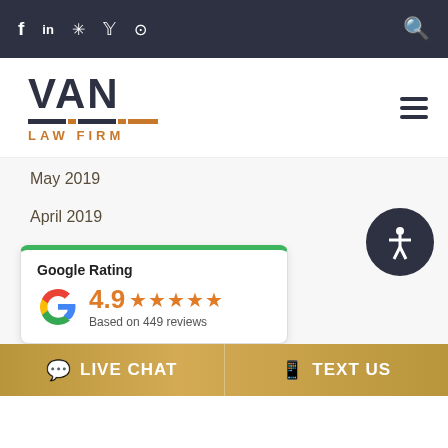f in ★ 𝕐 🔍 (social icons bar)
[Figure (logo): Van Law Firm logo with VAN in large dark letters, colored stripe, and LAW FIRM text in orange below]
May 2019
April 2019
March 2019
February 2019
January 2019
[Figure (infographic): Google Rating widget showing 4.9 stars based on 449 reviews with Google G logo]
LIVE CHAT | TEXT US